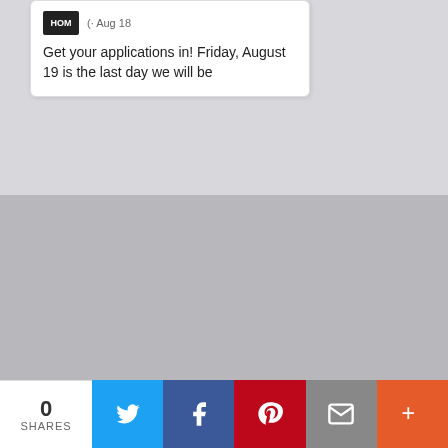[Figure (screenshot): Social media post card showing a logo, date '· Aug 18', and text 'Get your applications in! Friday, August 19 is the last day we will be']
[Figure (logo): HOMtv logo with tagline 'Haslett + Okemos + Meridian' on grey background]
[Figure (infographic): Row of social media icons: Twitter, Facebook, Instagram, LinkedIn, YouTube, Flickr]
5151 Marsh Road
[Figure (infographic): Share bar at bottom: count '0 SHARES', Twitter, Facebook, Pinterest, Email, More buttons]